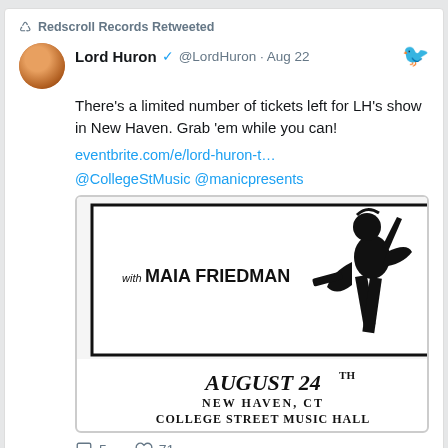Redscroll Records Retweeted
Lord Huron ✓ @LordHuron · Aug 22
There's a limited number of tickets left for LH's show in New Haven. Grab 'em while you can!
eventbrite.com/e/lord-huron-t…
@CollegeStMusic @manicpresents
[Figure (illustration): Concert poster showing a figure playing guitar with text 'with MAIA FRIEDMAN', 'AUGUST 24TH', 'NEW HAVEN, CT', 'COLLEGE STREET MUSIC HALL']
5   71